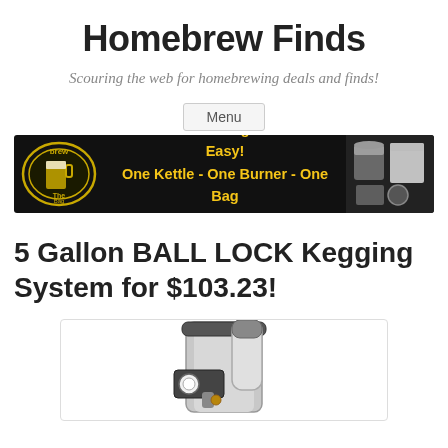Homebrew Finds
Scouring the web for homebrewing deals and finds!
Menu
[Figure (photo): The Brew Bag advertisement banner with black background. Text reads: All Grain Brewing - Fast and Easy! One Kettle - One Burner - One Bag Guaranteed for FIFTY Brews! Logo on left, product image on right.]
5 Gallon BALL LOCK Kegging System for $103.23!
[Figure (photo): Product photo showing a 5 gallon ball lock kegging system with a CO2 regulator attached, stainless steel keg visible, partial image showing top portion of the keg setup.]